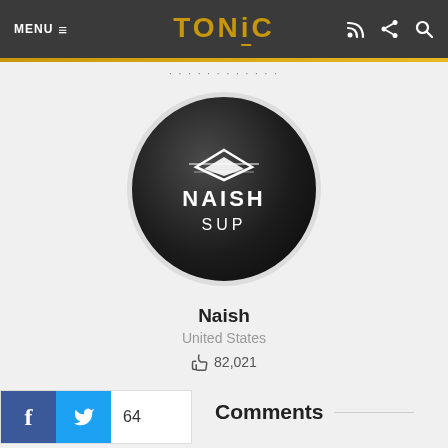MENU ≡  TONIC
[Figure (logo): Naish SUP circular logo — black circle with white Naish logo mark and text 'NAISH' and 'SUP']
Naish
United States
👍 82,021
f  🐦  64
Comments